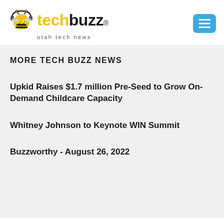[Figure (logo): TechBuzz Utah Tech News logo with bee mascot graphic, yellow and black text]
MORE TECH BUZZ NEWS
Upkid Raises $1.7 million Pre-Seed to Grow On-Demand Childcare Capacity
Whitney Johnson to Keynote WIN Summit
Buzzworthy - August 26, 2022